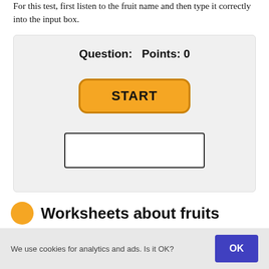For this test, first listen to the fruit name and then type it correctly into the input box.
[Figure (screenshot): Interactive quiz widget with a gray box containing 'Question: Points: 0' header, an orange START button, and a white text input box below.]
Worksheets about fruits
We use cookies for analytics and ads. Is it OK?